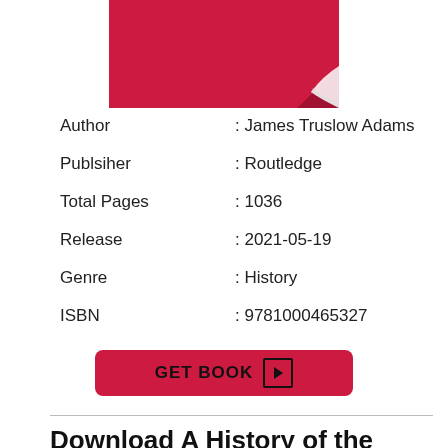[Figure (illustration): Book cover with crimson/dark red background and a page-curl effect in the bottom-right corner showing white curl]
Author : James Truslow Adams
Publsiher : Routledge
Total Pages : 1036
Release : 2021-05-19
Genre : History
ISBN : 9781000465327
GET BOOK ▶
Download A History of the American People Book in PDF,